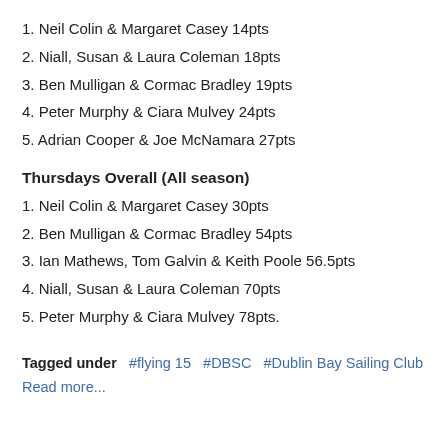1. Neil Colin & Margaret Casey 14pts
2. Niall, Susan & Laura Coleman 18pts
3. Ben Mulligan & Cormac Bradley 19pts
4. Peter Murphy & Ciara Mulvey 24pts
5. Adrian Cooper & Joe McNamara 27pts
Thursdays Overall (All season)
1. Neil Colin & Margaret Casey 30pts
2. Ben Mulligan & Cormac Bradley 54pts
3. Ian Mathews, Tom Galvin & Keith Poole 56.5pts
4. Niall, Susan & Laura Coleman 70pts
5. Peter Murphy & Ciara Mulvey 78pts.
Tagged under  #flying 15  #DBSC  #Dublin Bay Sailing Club
Read more...